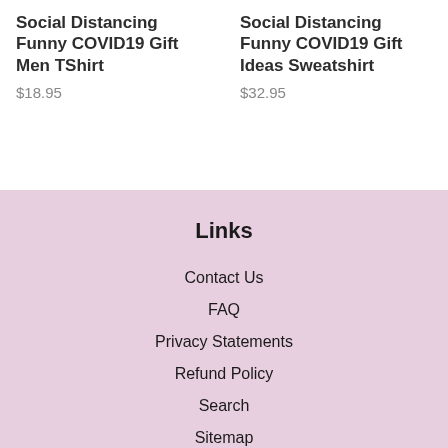Social Distancing Funny COVID19 Gift Men TShirt
$18.95
Social Distancing Funny COVID19 Gift Ideas Sweatshirt
$32.95
Links
Contact Us
FAQ
Privacy Statements
Refund Policy
Search
Sitemap
Term Of Service
Terms of Service